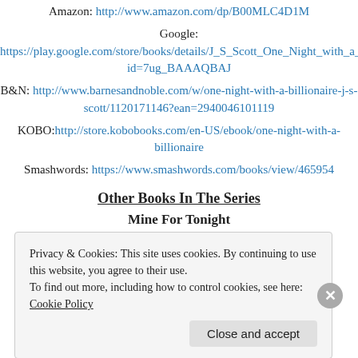Amazon: http://www.amazon.com/dp/B00MLC4D1M
Google: https://play.google.com/store/books/details/J_S_Scott_One_Night_with_a_Billionaire?id=7ug_BAAAQBAJ
B&N: http://www.barnesandnoble.com/w/one-night-with-a-billionaire-j-s-scott/1120171146?ean=2940046101119
KOBO: http://store.kobobooks.com/en-US/ebook/one-night-with-a-billionaire
Smashwords: https://www.smashwords.com/books/view/465954
Other Books In The Series
Mine For Tonight
[Figure (screenshot): Dark banner with a teal 'Learn more' button]
Privacy & Cookies: This site uses cookies. By continuing to use this website, you agree to their use.
To find out more, including how to control cookies, see here: Cookie Policy
Close and accept